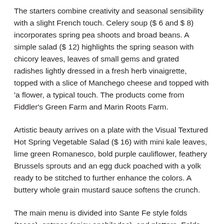The starters combine creativity and seasonal sensibility with a slight French touch. Celery soup ($ 6 and $ 8) incorporates spring pea shoots and broad beans. A simple salad ($ 12) highlights the spring season with chicory leaves, leaves of small gems and grated radishes lightly dressed in a fresh herb vinaigrette, topped with a slice of Manchego cheese and topped with 'a flower, a typical touch. The products come from Fiddler's Green Farm and Marin Roots Farm.
Artistic beauty arrives on a plate with the Visual Textured Hot Spring Vegetable Salad ($ 16) with mini kale leaves, lime green Romanesco, bold purple cauliflower, feathery Brussels sprouts and an egg duck poached with a yolk ready to be stitched to further enhance the colors. A buttery whole grain mustard sauce softens the crunch.
The main menu is divided into Sante Fe style folds (tacos), entrees (spicy enchiladas), and platters. Folds are a fun approach to making your own meal. Homemade flour tortillas are wrapped